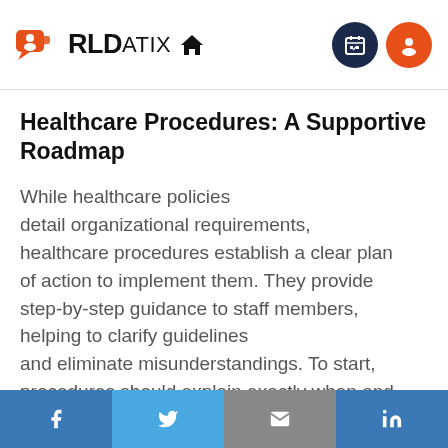RLDatix
Healthcare Procedures: A Supportive Roadmap
While healthcare policies detail organizational requirements, healthcare procedures establish a clear plan of action to implement them. They provide step-by-step guidance to staff members, helping to clarify guidelines and eliminate misunderstandings. To start, procedures should explain exactly when and how to take action in specific situations. For
f  Twitter  Email  in